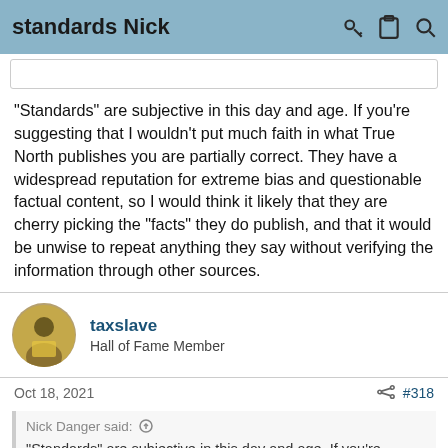standards Nick
"Standards" are subjective in this day and age. If you're suggesting that I wouldn't put much faith in what True North publishes you are partially correct. They have a widespread reputation for extreme bias and questionable factual content, so I would think it likely that they are cherry picking the "facts" they do publish, and that it would be unwise to repeat anything they say without verifying the information through other sources.
taxslave
Hall of Fame Member
Oct 18, 2021  #318
Nick Danger said:
"Standards" are subjective in this day and age. If you're suggesting that I wouldn't put much faith in what True North publishes you are partially correct. They have a widespread reputation for extreme bias